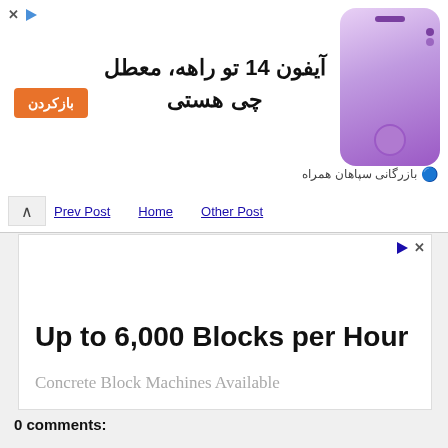[Figure (screenshot): Advertisement banner in Farsi/Persian for iPhone 14 with orange call-to-action button 'بازکردن' and phone image on the right. Shows text: آیفون 14 تو راهه، معطل چی هستی. Bottom right shows: بازرگانی سپاهان همراه]
Prev Post   Home   Other Post
[Figure (screenshot): Advertisement area with Ad badge icons (play and X) in top right corner. Main content shows bold text 'Up to 6,000 Blocks per Hour' and subtitle 'Concrete Block Machines Available']
0 comments: